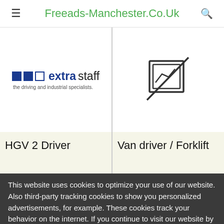Freeads-Manchester.Co.Uk
[Figure (logo): Extrastaff logo — colored squares and text reading 'extrastaff the driving and industrial specialists.']
[Figure (illustration): Broken/missing image placeholder icon — image frame with diagonal line through it]
HGV 2 Driver
Van driver / Forklift
This website uses cookies to optimize your use of our website. Also third-party tracking cookies to show you personalized advertisements, for example. These cookies track your behavior on the internet. If you continue to visit our website by placing a click, or by clicking agree after this, you agree to the placing of cookies and the processing of the data that we and our partners obtain as a result.
More information
OK